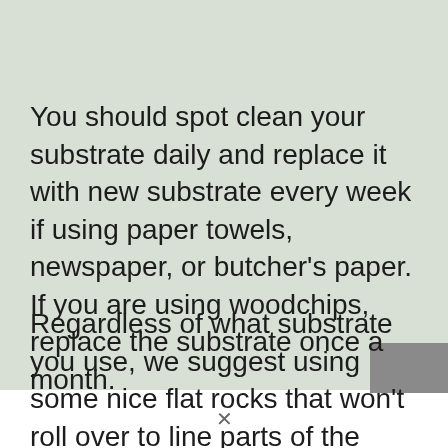You should spot clean your substrate daily and replace it with new substrate every week if using paper towels, newspaper, or butcher's paper. If you are using woodchips, replace the substrate once a month.
Regardless of what substrate you use, we suggest using some nice flat rocks that won't roll over to line parts of the bottom of the enclosure.